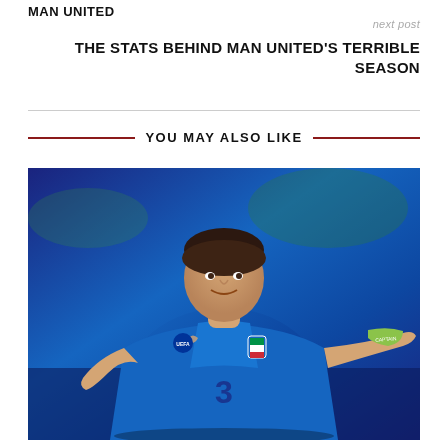MAN UNITED
next post
THE STATS BEHIND MAN UNITED'S TERRIBLE SEASON
YOU MAY ALSO LIKE
[Figure (photo): Soccer player wearing blue Italy national team jersey number 3, celebrating or gesturing with outstretched arm, green captain's armband, blurred stadium background]